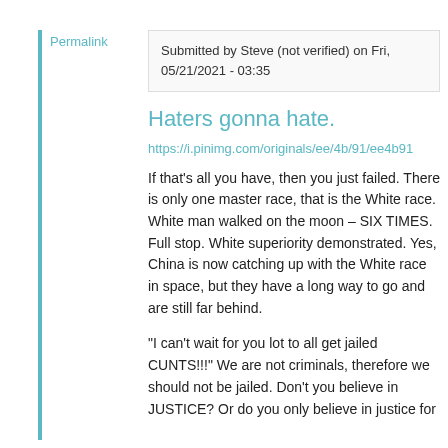Permalink
Submitted by Steve (not verified) on Fri, 05/21/2021 - 03:35
Haters gonna hate.
https://i.pinimg.com/originals/ee/4b/91/ee4b91
If that's all you have, then you just failed. There is only one master race, that is the White race. White man walked on the moon – SIX TIMES. Full stop. White superiority demonstrated. Yes, China is now catching up with the White race in space, but they have a long way to go and are still far behind.
"I can't wait for you lot to all get jailed CUNTS!!!" We are not criminals, therefore we should not be jailed. Don't you believe in JUSTICE? Or do you only believe in justice for